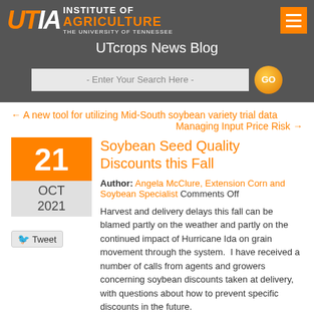UTIA Institute of Agriculture - The University of Tennessee | UTcrops News Blog
- Enter Your Search Here -
← A new tool for utilizing Mid-South soybean variety trial data
Managing Input Price Risk →
Soybean Seed Quality Discounts this Fall
Author: Angela McClure, Extension Corn and Soybean Specialist Comments Off
21 OCT 2021
Harvest and delivery delays this fall can be blamed partly on the weather and partly on the continued impact of Hurricane Ida on grain movement through the system.  I have received a number of calls from agents and growers concerning soybean discounts taken at delivery, with questions about how to prevent specific discounts in the future.